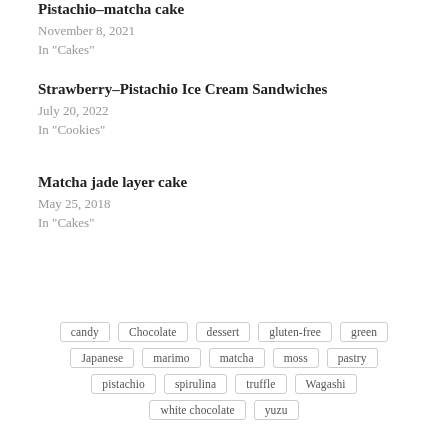Pistachio–matcha cake
November 8, 2021
In "Cakes"
Strawberry–Pistachio Ice Cream Sandwiches
July 20, 2022
In "Cookies"
Matcha jade layer cake
May 25, 2018
In "Cakes"
candy  Chocolate  dessert  gluten-free  green  Japanese  marimo  matcha  moss  pastry  pistachio  spirulina  truffle  Wagashi  white chocolate  yuzu